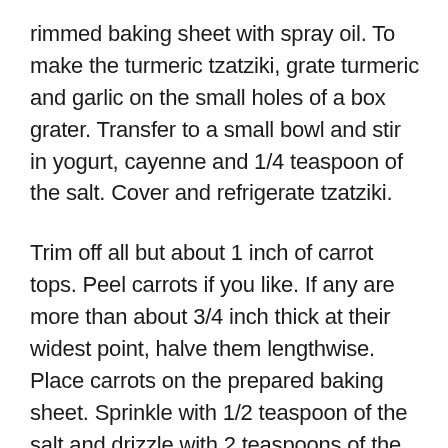rimmed baking sheet with spray oil. To make the turmeric tzatziki, grate turmeric and garlic on the small holes of a box grater. Transfer to a small bowl and stir in yogurt, cayenne and 1/4 teaspoon of the salt. Cover and refrigerate tzatziki.
Trim off all but about 1 inch of carrot tops. Peel carrots if you like. If any are more than about 3/4 inch thick at their widest point, halve them lengthwise. Place carrots on the prepared baking sheet. Sprinkle with 1/2 teaspoon of the salt and drizzle with 2 teaspoons of the oil. Toss to coat, and then spread in a single layer. Roast for 12 minutes.
Sprinkle cod with black pepper and remaining